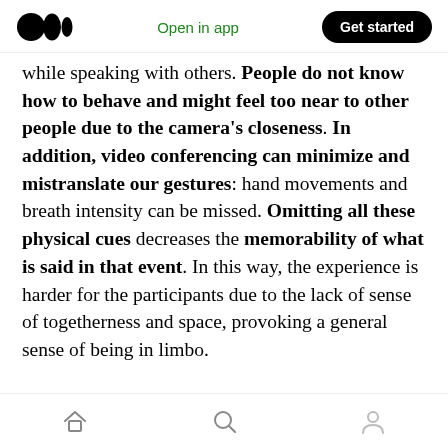Medium logo | Open in app | Get started
while speaking with others. People do not know how to behave and might feel too near to other people due to the camera's closeness. In addition, video conferencing can minimize and mistranslate our gestures: hand movements and breath intensity can be missed. Omitting all these physical cues decreases the memorability of what is said in that event. In this way, the experience is harder for the participants due to the lack of sense of togetherness and space, provoking a general sense of being in limbo.
Home | Search | Profile